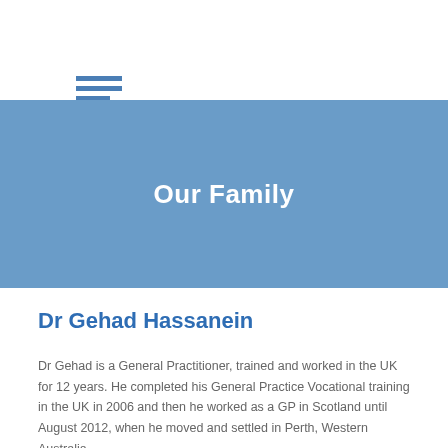[Figure (other): Hamburger menu icon made of three horizontal blue bars]
Our Family
Dr Gehad Hassanein
Dr Gehad is a General Practitioner, trained and worked in the UK for 12 years. He completed his General Practice Vocational training in the UK in 2006 and then he worked as a GP in Scotland until August 2012, when he moved and settled in Perth, Western Australia.